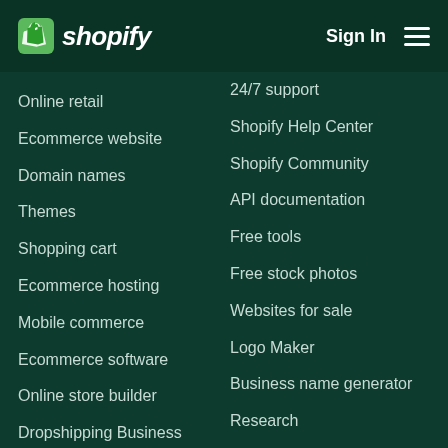[Figure (logo): Shopify logo with green bag icon and italic white text 'shopify']
Sign In
Online retail
Ecommerce website
Domain names
Themes
Shopping cart
Ecommerce hosting
Mobile commerce
Ecommerce software
Online store builder
Dropshipping Business
Store themes
24/7 support
Shopify Help Center
Shopify Community
API documentation
Free tools
Free stock photos
Websites for sale
Logo Maker
Business name generator
Research
Legal